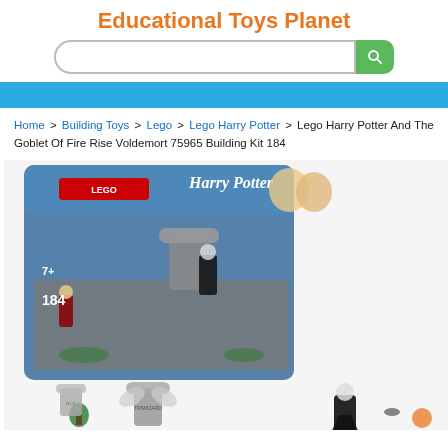Educational Toys Planet
[Figure (screenshot): Search bar with text input and green search button with magnifying glass icon]
[Figure (screenshot): Blue navigation bar]
Home > Building Toys > Lego > Lego Harry Potter > Lego Harry Potter And The Goblet Of Fire Rise Voldemort 75965 Building Kit 184
[Figure (photo): Product photo of LEGO Harry Potter And The Goblet Of Fire Rise Voldemort 75965 Building Kit 184 — box image showing a graveyard scene with characters, plus loose assembled LEGO figures below]